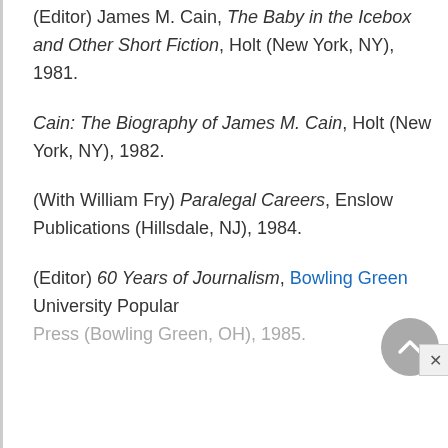(Editor) James M. Cain, The Baby in the Icebox and Other Short Fiction, Holt (New York, NY), 1981.
Cain: The Biography of James M. Cain, Holt (New York, NY), 1982.
(With William Fry) Paralegal Careers, Enslow Publications (Hillsdale, NJ), 1984.
(Editor) 60 Years of Journalism, Bowling Green University Popular Press (Bowling Green, OH), 1985.